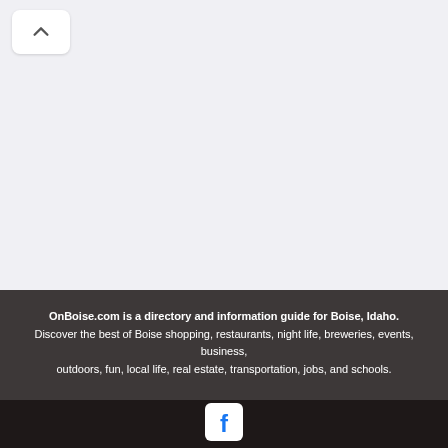[Figure (screenshot): Scroll-to-top button with upward chevron arrow on light gray background]
OnBoise.com is a directory and information guide for Boise, Idaho. Discover the best of Boise shopping, restaurants, night life, breweries, events, business, outdoors, fun, local life, real estate, transportation, jobs, and schools.
Looking for what to do in Boise? OnBoise.com has columnists, and bloggers to keep you
[Figure (logo): Facebook logo icon (white 'f' on white rounded square background) in dark bottom footer bar]